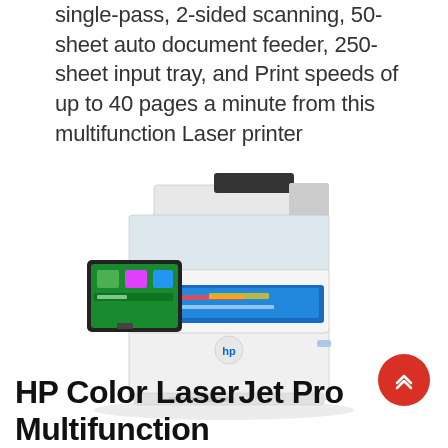single-pass, 2-sided scanning, 50-sheet auto document feeder, 250-sheet input tray, and Print speeds of up to 40 pages a minute from this multifunction Laser printer
[Figure (photo): HP Color LaserJet Pro Multifunction laser printer in white, shown at an angle with a touchscreen display on the left and a paper output tray in the front]
HP Color LaserJet Pro Multifunction